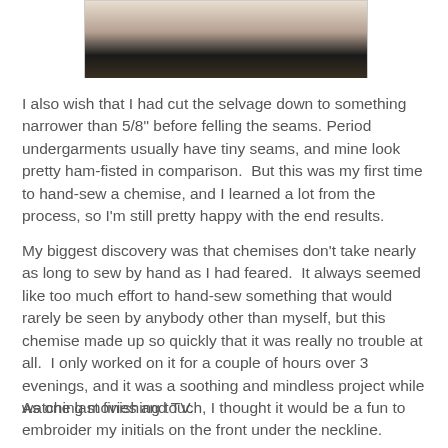[Figure (photo): Partial photograph showing what appears to be a dark circular object on a carpet or textile surface]
I also wish that I had cut the selvage down to something narrower than 5/8" before felling the seams. Period undergarments usually have tiny seams, and mine look pretty ham-fisted in comparison.  But this was my first time to hand-sew a chemise, and I learned a lot from the process, so I'm still pretty happy with the end results.
My biggest discovery was that chemises don't take nearly as long to sew by hand as I had feared.  It always seemed like too much effort to hand-sew something that would rarely be seen by anybody other than myself, but this chemise made up so quickly that it was really no trouble at all.  I only worked on it for a couple of hours over 3 evenings, and it was a soothing and mindless project while watching movies and TV.
As one last finishing touch, I thought it would be a fun to embroider my initials on the front under the neckline.